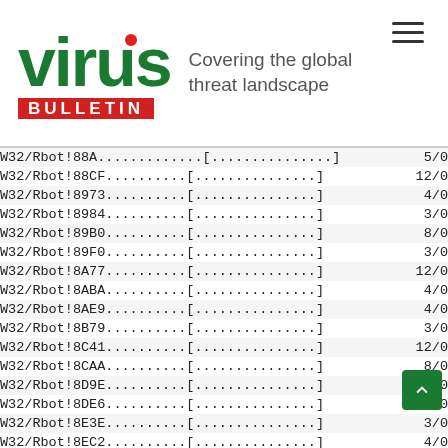[Figure (logo): Virus Bulletin logo with red dot over 'i', red BULLETIN bar, tagline 'Covering the global threat landscape']
| Virus Name | Score |
| --- | --- |
| W32/Rbot!88A............[.............] | 5/0 |
| W32/Rbot!88CF...........[.............] | 12/0 |
| W32/Rbot!8973...........[.............] | 4/0 |
| W32/Rbot!8984...........[.............] | 3/0 |
| W32/Rbot!89B0...........[.............] | 8/0 |
| W32/Rbot!89F0...........[.............] | 3/0 |
| W32/Rbot!8A77...........[.............] | 12/0 |
| W32/Rbot!8ABA...........[.............] | 4/0 |
| W32/Rbot!8AE9...........[.............] | 4/0 |
| W32/Rbot!8B79...........[.............] | 3/0 |
| W32/Rbot!8C41...........[.............] | 12/0 |
| W32/Rbot!8CAA...........[.............] | 8/0 |
| W32/Rbot!8D9E...........[.............] | 12/0 |
| W32/Rbot!8DE6...........[.............] | 4/0 |
| W32/Rbot!8E3E...........[.............] | 3/0 |
| W32/Rbot!8EC2...........[.............] | 4/0 |
| W32/Rbot!8ECD...........[.............] | 8/0 |
| W32/Rbot!8F2B...........[.............] | 4/0 |
| W32/Rbot!8E48...........[.............] | 4/0 |